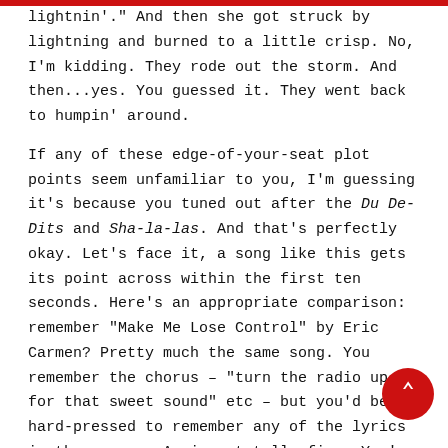lightnin'." And then she got struck by lightning and burned to a little crisp. No, I'm kidding. They rode out the storm. And then...yes. You guessed it. They went back to humpin' around.
If any of these edge-of-your-seat plot points seem unfamiliar to you, I'm guessing it's because you tuned out after the Du De-Dits and Sha-la-las. And that's perfectly okay. Let's face it, a song like this gets its point across within the first ten seconds. Here's an appropriate comparison: remember "Make Me Lose Control" by Eric Carmen? Pretty much the same song. You remember the chorus – "turn the radio up for that sweet sound" etc – but you'd be hard-pressed to remember any of the lyrics in the verses. Again – totally fine. You're enjoying both for the way they made you feel during the summer that you heard them. (Nevermind that "Thunder Island" hit the 10 in April.)